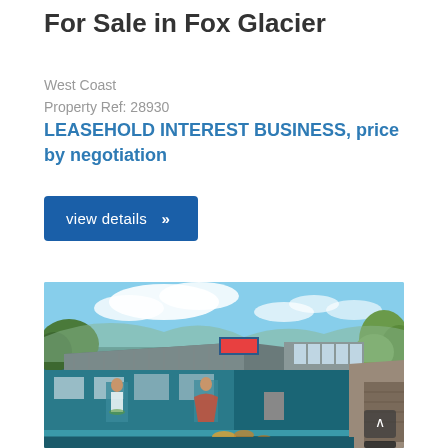For Sale in Fox Glacier
West Coast
Property Ref: 28930
LEASEHOLD INTEREST BUSINESS, price by negotiation
view details >>
[Figure (photo): Exterior photo of a commercial building in Fox Glacier with blue painted walls featuring murals of people, a metal/tin roof, skylights visible on right side, trees in background, blue sky with clouds, and a pathway along the right side of the building.]